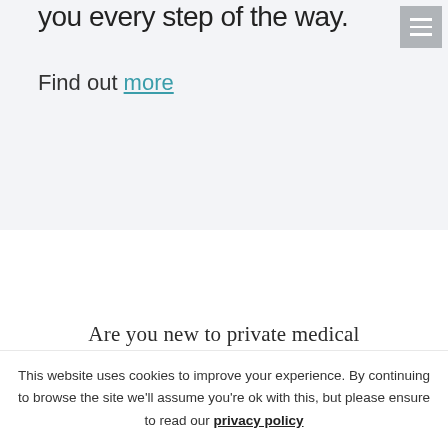you every step of the way.
Find out more
Are you new to private medical
This website uses cookies to improve your experience. By continuing to browse the site we'll assume you're ok with this, but please ensure to read our privacy policy